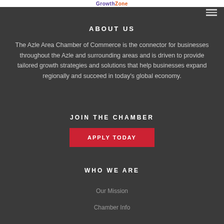GrowthZone
ABOUT US
The Azle Area Chamber of Commerce is the connector for businesses throughout the Azle and surrounding areas and is driven to provide tailored growth strategies and solutions that help businesses expand regionally and succeed in today's global economy.
JOIN THE CHAMBER
APPLY TODAY
WHO WE ARE
Our Mission
Chamber Info